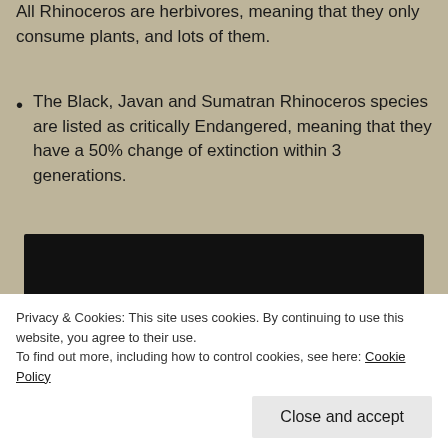All Rhinoceros are herbivores, meaning that they only consume plants, and lots of them.
The Black, Javan and Sumatran Rhinoceros species are listed as critically Endangered, meaning that they have a 50% change of extinction within 3 generations.
[Figure (photo): Dark/black image area, likely a video or photo of a rhinoceros]
Privacy & Cookies: This site uses cookies. By continuing to use this website, you agree to their use.
To find out more, including how to control cookies, see here: Cookie Policy
Close and accept